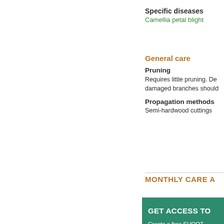Specific diseases
Camellia petal blight
General care
Pruning
Requires little pruning. De damaged branches should
Propagation methods
Semi-hardwood cuttings
MONTHLY CARE A
GET ACCESS TO
Create a free SHOOT care advice for this a
You'll also receive ha doing. Create your fre
CR